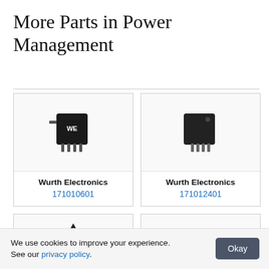More Parts in Power Management
[Figure (photo): IC/transistor chip package by Wurth Electronics, part number 171010601, black component with metal leads]
Wurth Electronics
171010601
[Figure (photo): IC/transistor chip package by Wurth Electronics, part number 171012401, black component with metal leads]
Wurth Electronics
171012401
[Figure (photo): Small black chip component visible at bottom left card]
[Figure (photo): Small chip component visible at bottom right card]
We use cookies to improve your experience. See our privacy policy.